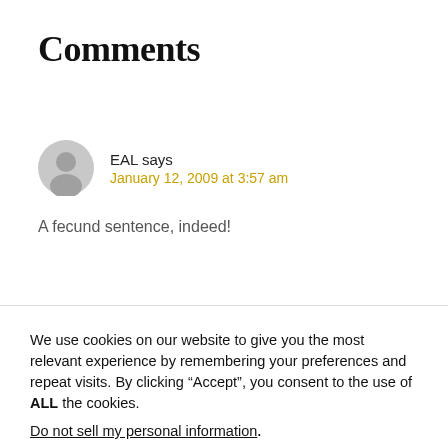Comments
EAL says
January 12, 2009 at 3:57 am
A fecund sentence, indeed!
We use cookies on our website to give you the most relevant experience by remembering your preferences and repeat visits. By clicking “Accept”, you consent to the use of ALL the cookies.
Do not sell my personal information.